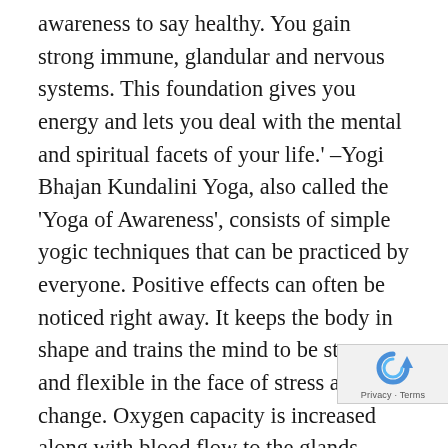awareness to say healthy. You gain strong immune, glandular and nervous systems. This foundation gives you energy and lets you deal with the mental and spiritual facets of your life.' –Yogi Bhajan Kundalini Yoga, also called the 'Yoga of Awareness', consists of simple yogic techniques that can be practiced by everyone. Positive effects can often be noticed right away. It keeps the body in shape and trains the mind to be strong and flexible in the face of stress and change. Oxygen capacity is increased along with blood flow to the glands, resulting in heightened awareness and vitality. Through breathing techniques and meditation, peace of mind can be obtained. In the Beginning As a beginning student, participate at a pace that suits you flexibility and endurance. Wear loose, comfortable clothing. It is best to have bare feet
[Figure (other): reCAPTCHA widget with circular arrow icon and 'Privacy - Terms' text]